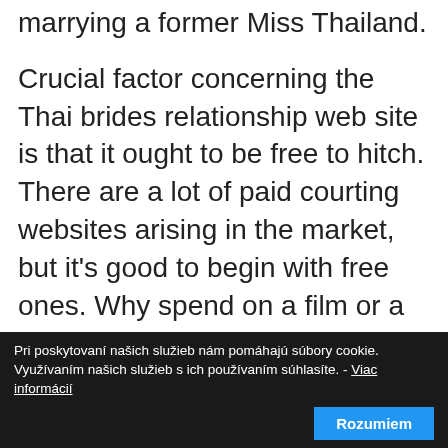marrying a former Miss Thailand.
Crucial factor concerning the Thai brides relationship web site is that it ought to be free to hitch. There are a lot of paid courting websites arising in the market, but it's good to begin with free ones. Why spend on a film or a dinner date to know somebody carefully? Flick through the site and use all obtainable services in regards to the person you wish to date. As soon as you are satisfied, you may plan a perfect date collectively without digging much into your pockets.
Pri poskytovaní našich služieb nám pomáhajú súbory cookie. Využívaním našich služieb s ich používaním súhlasíte. - Viac informácií Rozumiem